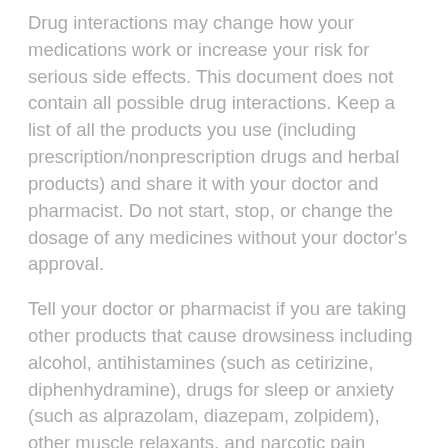Drug interactions may change how your medications work or increase your risk for serious side effects. This document does not contain all possible drug interactions. Keep a list of all the products you use (including prescription/nonprescription drugs and herbal products) and share it with your doctor and pharmacist. Do not start, stop, or change the dosage of any medicines without your doctor's approval.
Tell your doctor or pharmacist if you are taking other products that cause drowsiness including alcohol, antihistamines (such as cetirizine, diphenhydramine), drugs for sleep or anxiety (such as alprazolam, diazepam, zolpidem), other muscle relaxants, and narcotic pain relievers (such as codeine).
Check the labels on all your medicines (such as allergy or cough-and-cold products) because they may contain